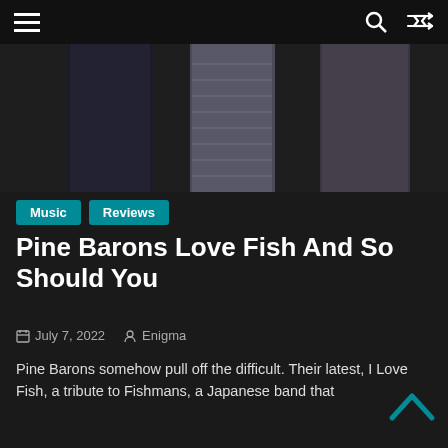Navigation bar with hamburger menu, search icon, and shuffle icon
[Figure (photo): Band members photographed from torso down, dark clothing, black background]
Music   Reviews
Pine Barons Love Fish And So Should You
July 7, 2022   Enigma
Pine Barons somehow pull off the difficult.  Their latest, I Love Fish, a tribute to Fishmans, a Japanese band that
[Figure (photo): Blues Traveler concert photo, guitarist on stage with blue stage lighting]
Blues Traveler Kicks Off 35th Anniversary Tour
March 26, 2022
[Figure (photo): Concert photo with green lighting]
Bob Weir and Wolf Bros at Tivoli